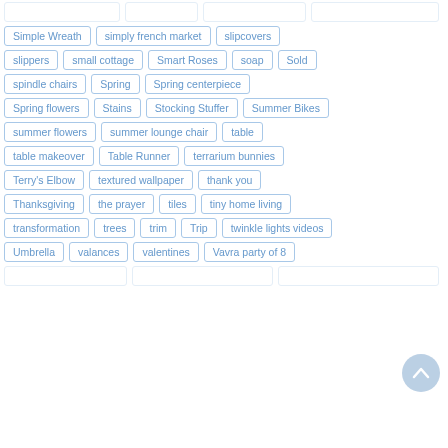Simple Wreath
simply french market
slipcovers
slippers
small cottage
Smart Roses
soap
Sold
spindle chairs
Spring
Spring centerpiece
Spring flowers
Stains
Stocking Stuffer
Summer Bikes
summer flowers
summer lounge chair
table
table makeover
Table Runner
terrarium bunnies
Terry's Elbow
textured wallpaper
thank you
Thanksgiving
the prayer
tiles
tiny home living
transformation
trees
trim
Trip
twinkle lights videos
Umbrella
valances
valentines
Vavra party of 8